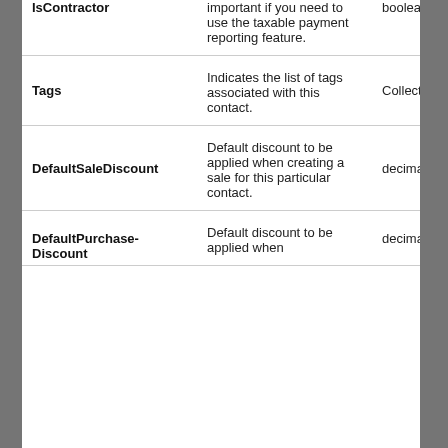| Field | Description | Type | Required |
| --- | --- | --- | --- |
| IsContractor | important if you need to use the taxable payment reporting feature. | boolean | No |
| Tags | Indicates the list of tags associated with this contact. | Collection of string | No |
| DefaultSaleDiscount | Default discount to be applied when creating a sale for this particular contact. | decimal number | No |
| DefaultPurchaseDiscount | Default discount to be applied when | decimal number | No |